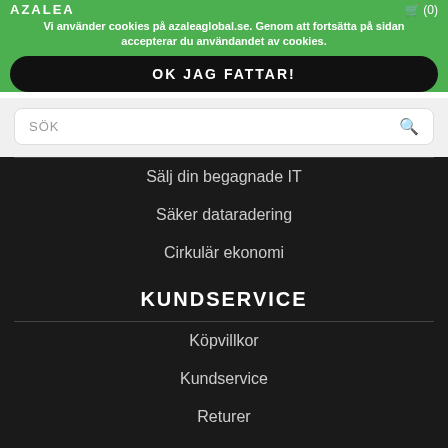Vi använder cookies på azaleaglobal.se. Genom att fortsätta på sidan accepterar du användandet av cookies.
OK JAG FATTAR!
SÖK
Sälj din begagnade IT
Säker dataradering
Cirkulär ekonomi
KUNDSERVICE
Köpvillkor
Kundservice
Returer
NYHETSBREV